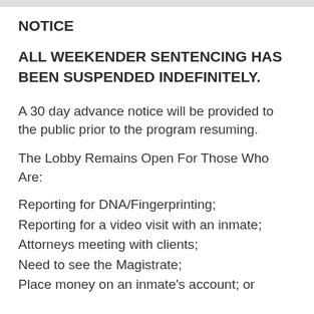NOTICE
ALL WEEKENDER SENTENCING HAS BEEN SUSPENDED INDEFINITELY.
A 30 day advance notice will be provided to the public prior to the program resuming.
The Lobby Remains Open For Those Who Are:
Reporting for DNA/Fingerprinting;
Reporting for a video visit with an inmate;
Attorneys meeting with clients;
Need to see the Magistrate;
Place money on an inmate's account; or